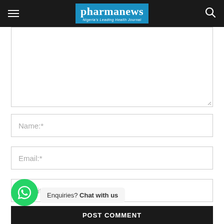pharmanews — Nigeria's Leading Health Journal
[Figure (screenshot): Comment form textarea (empty), input fields for Name, Email, Website, a checkbox row for saving browser info, WhatsApp enquiry button, and a POST COMMENT button.]
Name:*
Email:*
Website:
Save my name, email, and website in this browser for the next time I comment.
Enquiries? Chat with us
POST COMMENT